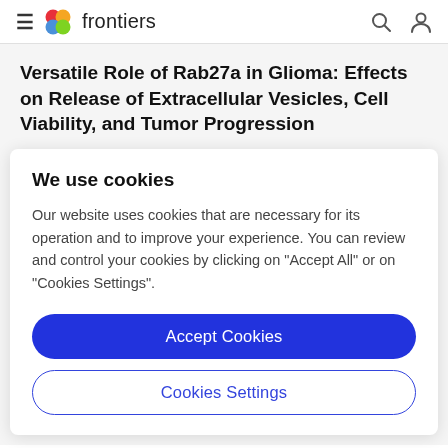frontiers
Versatile Role of Rab27a in Glioma: Effects on Release of Extracellular Vesicles, Cell Viability, and Tumor Progression
We use cookies
Our website uses cookies that are necessary for its operation and to improve your experience. You can review and control your cookies by clicking on "Accept All" or on "Cookies Settings".
Accept Cookies
Cookies Settings